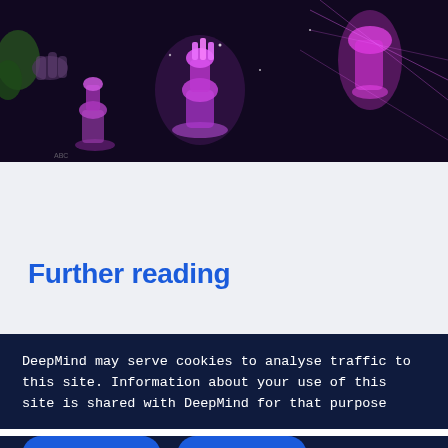[Figure (photo): A dark purple-toned image of glowing chess pieces with neon purple/pink highlights, appearing futuristic or AI-themed, viewed from above with hands visible at the edges.]
Further reading
DeepMind may serve cookies to analyse traffic to this site. Information about your use of this site is shared with DeepMind for that purpose
See details
OK, got it